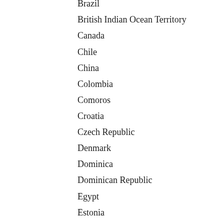Brazil
British Indian Ocean Territory
Canada
Chile
China
Colombia
Comoros
Croatia
Czech Republic
Denmark
Dominica
Dominican Republic
Egypt
Estonia
Falkland Islands (Malvinas)
Finland
France
Georgia
Germany
Hong Kong